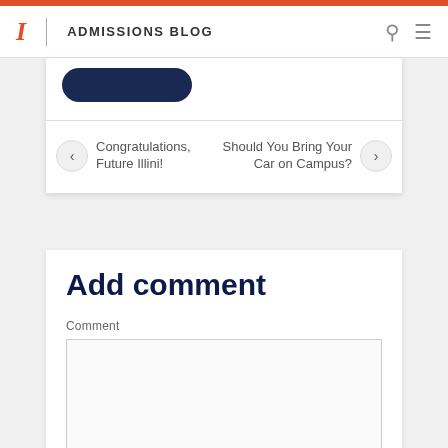ADMISSIONS BLOG
[Figure (screenshot): Navigation card showing a dark blue pill-shaped button, a horizontal divider, and two navigation links: left arrow with 'Congratulations, Future Illini!' and right arrow with 'Should You Bring Your Car on Campus?']
Add comment
Comment